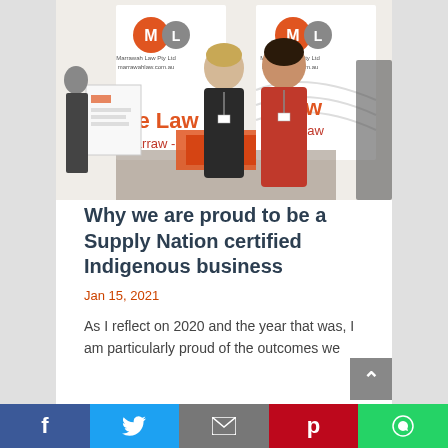[Figure (photo): Two women standing at a Marrawah Law Pty Ltd exhibition booth. One woman in black clothing and one in a red dress. Marrawah Law branded banners visible in background. Exhibition materials and displays on table in front.]
Why we are proud to be a Supply Nation certified Indigenous business
Jan 15, 2021
As I reflect on 2020 and the year that was, I am particularly proud of the outcomes we